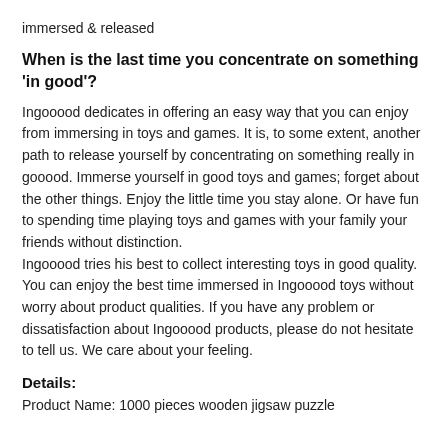immersed & released
When is the last time you concentrate on something 'in good'?
Ingooood dedicates in offering an easy way that you can enjoy from immersing in toys and games. It is, to some extent, another path to release yourself by concentrating on something really in gooood. Immerse yourself in good toys and games; forget about the other things. Enjoy the little time you stay alone. Or have fun to spending time playing toys and games with your family your friends without distinction.
Ingooood tries his best to collect interesting toys in good quality. You can enjoy the best time immersed in Ingooood toys without worry about product qualities. If you have any problem or dissatisfaction about Ingooood products, please do not hesitate to tell us. We care about your feeling.
Details:
Product Name: 1000 pieces wooden jigsaw puzzle